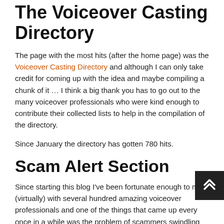The Voiceover Casting Directory
The page with the most hits (after the home page) was the Voiceover Casting Directory and although I can only take credit for coming up with the idea and maybe compiling a chunk of it … I think a big thank you has to go out to the many voiceover professionals who were kind enough to contribute their collected lists to help in the compilation of the directory.
Since January the directory has gotten 780 hits.
Scam Alert Section
Since starting this blog I've been fortunate enough to meet (virtually) with several hundred amazing voiceover professionals and one of the things that came up every once in a while was the problem of scammers swindling voiceover artists and taking advantage of the fact that modern day business for many voiceover artists is largely done over the internet.